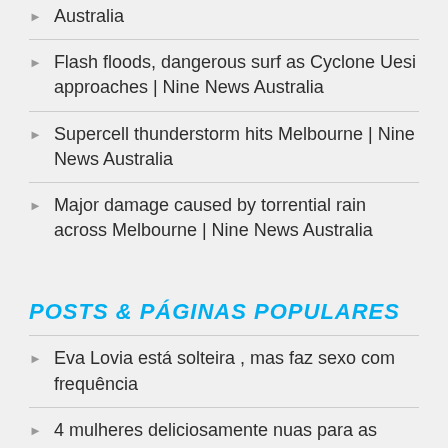Australia
Flash floods, dangerous surf as Cyclone Uesi approaches | Nine News Australia
Supercell thunderstorm hits Melbourne | Nine News Australia
Major damage caused by torrential rain across Melbourne | Nine News Australia
POSTS & PÁGINAS POPULARES
Eva Lovia está solteira , mas faz sexo com frequência
4 mulheres deliciosamente nuas para as fotos aleatórias do sexyandfunny.com
Franciele Perao escreve a Página 77 de 366